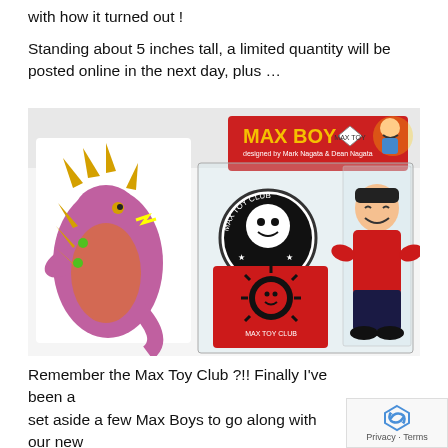with how it turned out !
Standing about 5 inches tall, a limited quantity will be posted online in the next day, plus …
[Figure (photo): Photo of Max Boy toy figure in packaging with Max Toy Club pin and card, alongside a colorful dragon/monster artwork card. The package header reads MAX BOY with branding.]
Remember the Max Toy Club ?!! Finally I've been a set aside a few Max Boys to go along with our new revamped Club Kit (new folder, card, pin, sticker and
Privacy · Terms